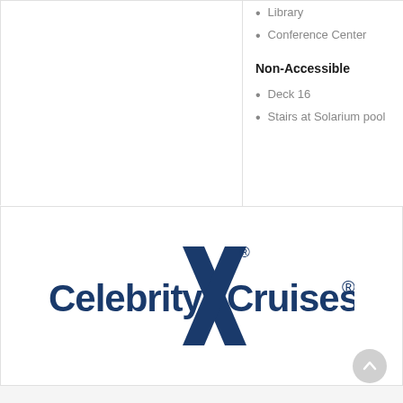Library
Conference Center
Non-Accessible
Deck 16
Stairs at Solarium pool
[Figure (logo): Celebrity Cruises logo with large blue X mark between 'Celebrity' and 'Cruises' text, registered trademark symbols]